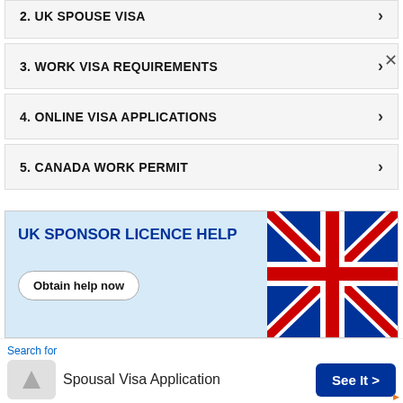2. UK SPOUSE VISA
3. WORK VISA REQUIREMENTS
4. ONLINE VISA APPLICATIONS
5. CANADA WORK PERMIT
[Figure (infographic): Advertisement banner with light blue background showing 'UK SPONSOR LICENCE HELP' text in dark blue, an 'Obtain help now' button, and a UK flag image on the right side.]
Search for
Spousal Visa Application
See It >